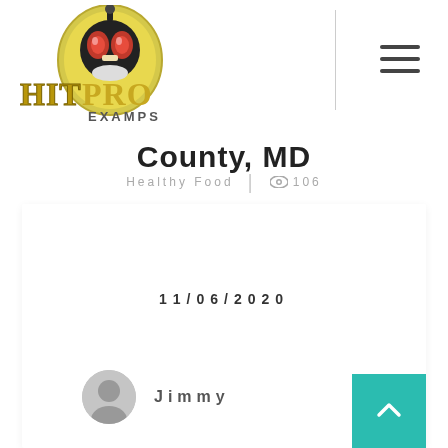[Figure (logo): Hit Pro Examps logo with masked character and gold lettering]
County, MD
Healthy Food  |  106
11/06/2020
Jimmy